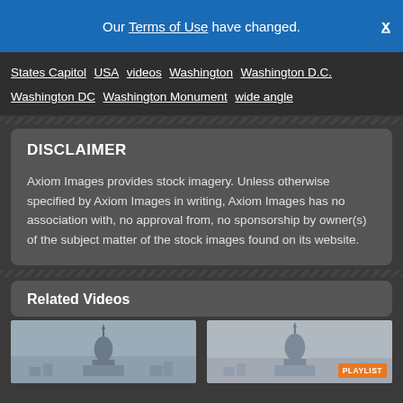Our Terms of Use have changed.
States Capitol USA videos Washington Washington D.C. Washington DC Washington Monument wide angle
DISCLAIMER
Axiom Images provides stock imagery. Unless otherwise specified by Axiom Images in writing, Axiom Images has no association with, no approval from, no sponsorship by owner(s) of the subject matter of the stock images found on its website.
Related Videos
[Figure (photo): Thumbnail image of US Capitol building with city skyline, overcast sky]
[Figure (photo): Thumbnail image of US Capitol building with city skyline, shows PLAYLIST badge]